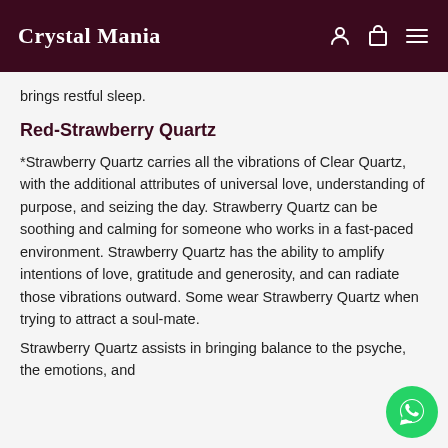Crystal Mania
brings restful sleep.
Red-Strawberry Quartz
*Strawberry Quartz carries all the vibrations of Clear Quartz, with the additional attributes of universal love, understanding of purpose, and seizing the day. Strawberry Quartz can be soothing and calming for someone who works in a fast-paced environment. Strawberry Quartz has the ability to amplify intentions of love, gratitude and generosity, and can radiate those vibrations outward. Some wear Strawberry Quartz when trying to attract a soul-mate.
Strawberry Quartz assists in bringing balance to the psyche, the emotions, and